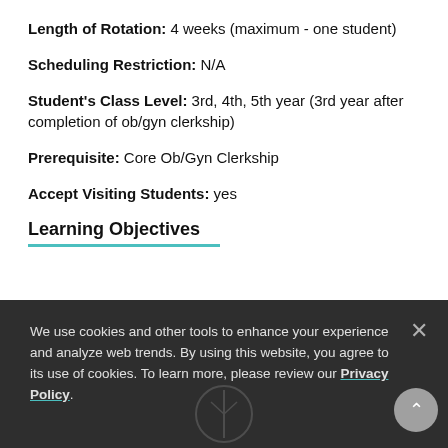Length of Rotation: 4 weeks (maximum - one student)
Scheduling Restriction: N/A
Student's Class Level: 3rd, 4th, 5th year (3rd year after completion of ob/gyn clerkship)
Prerequisite: Core Ob/Gyn Clerkship
Accept Visiting Students: yes
Learning Objectives
We use cookies and other tools to enhance your experience and analyze web trends. By using this website, you agree to its use of cookies. To learn more, please review our Privacy Policy.